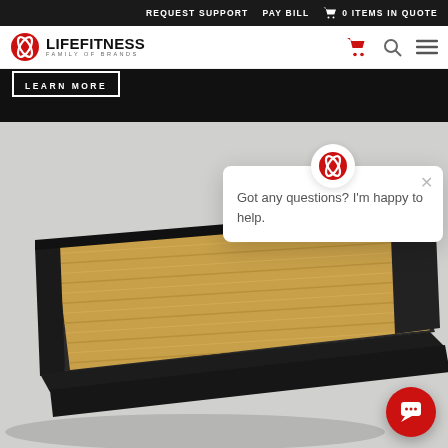REQUEST SUPPORT   PAY BILL   0 ITEMS IN QUOTE
[Figure (logo): Life Fitness Family of Brands logo with red coffee-bean icon]
LEARN MORE
[Figure (photo): Angled view of a Life Fitness treadmill platform showing a wooden-slat running surface with dark metal frame against a light grey background]
Got any questions? I'm happy to help.